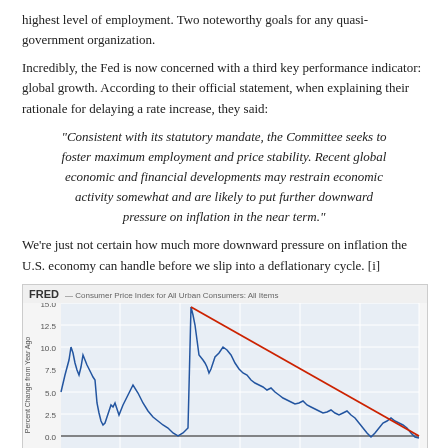highest level of employment. Two noteworthy goals for any quasi-government organization.
Incredibly, the Fed is now concerned with a third key performance indicator: global growth. According to their official statement, when explaining their rationale for delaying a rate increase, they said:
"Consistent with its statutory mandate, the Committee seeks to foster maximum employment and price stability. Recent global economic and financial developments may restrain economic activity somewhat and are likely to put further downward pressure on inflation in the near term."
We’re just not certain how much more downward pressure on inflation the U.S. economy can handle before we slip into a deflationary cycle. [i]
[Figure (continuous-plot): FRED line chart showing Consumer Price Index for All Urban Consumers: All Items. The y-axis shows Percent Change from Year Ago ranging from -2.5 to 15.0. The blue line shows CPI history with peaks around 15% in early periods and declining trend toward 0% in recent years. A red diagonal trend line drawn from upper left to lower right illustrates the downward trend in inflation over time.]